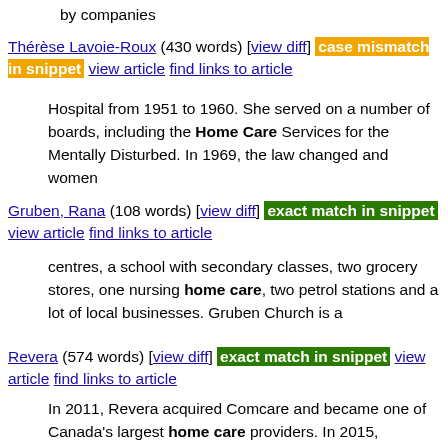by companies
Thérèse Lavoie-Roux (430 words) [view diff] case mismatch in snippet view article find links to article
Hospital from 1951 to 1960. She served on a number of boards, including the Home Care Services for the Mentally Disturbed. In 1969, the law changed and women
Gruben, Rana (108 words) [view diff] exact match in snippet view article find links to article
centres, a school with secondary classes, two grocery stores, one nursing home care, two petrol stations and a lot of local businesses. Gruben Church is a
Revera (574 words) [view diff] exact match in snippet view article find links to article
In 2011, Revera acquired Comcare and became one of Canada's largest home care providers. In 2015, Extendicare purchased Revera Home Health, incorporating